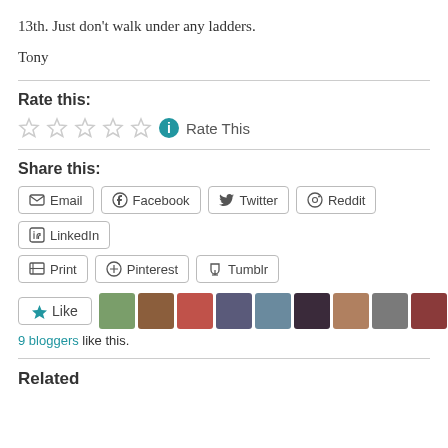13th. Just don't walk under any ladders.
Tony
Rate this:
☆☆☆☆☆ ℹ Rate This
Share this:
Email | Facebook | Twitter | Reddit | LinkedIn | Print | Pinterest | Tumblr
Like  [9 blogger avatars]
9 bloggers like this.
Related